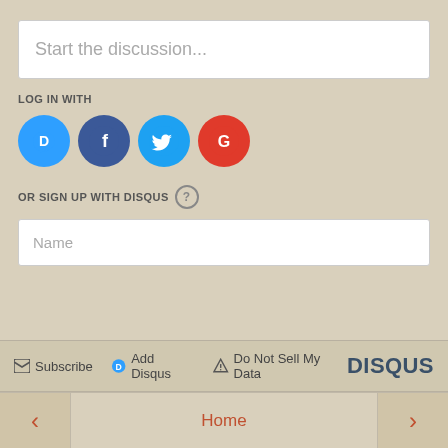Start the discussion...
LOG IN WITH
[Figure (infographic): Social login icons: Disqus (blue circle with D), Facebook (dark blue circle with f), Twitter (light blue circle with bird), Google (red circle with G)]
OR SIGN UP WITH DISQUS ?
Name
Be the first to comment.
Subscribe  Add Disqus  Do Not Sell My Data  DISQUS
< Home >